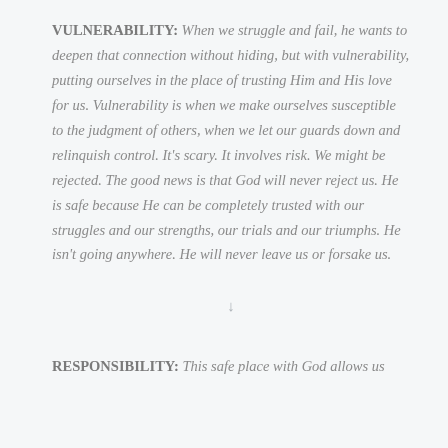VULNERABILITY: When we struggle and fail, he wants to deepen that connection without hiding, but with vulnerability, putting ourselves in the place of trusting Him and His love for us. Vulnerability is when we make ourselves susceptible to the judgment of others, when we let our guards down and relinquish control. It's scary. It involves risk. We might be rejected. The good news is that God will never reject us. He is safe because He can be completely trusted with our struggles and our strengths, our trials and our triumphs. He isn't going anywhere. He will never leave us or forsake us.
↓
RESPONSIBILITY: This safe place with God allows us